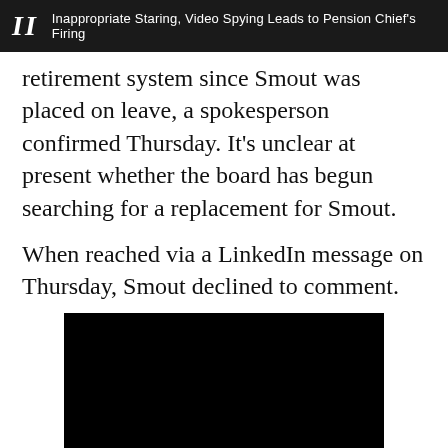II  Inappropriate Staring, Video Spying Leads to Pension Chief's Firing
retirement system since Smout was placed on leave, a spokesperson confirmed Thursday. It's unclear at present whether the board has begun searching for a replacement for Smout.
When reached via a LinkedIn message on Thursday, Smout declined to comment.
[Figure (other): Black video player rectangle]
[Figure (other): Social sharing buttons: Facebook, Twitter, Plus]